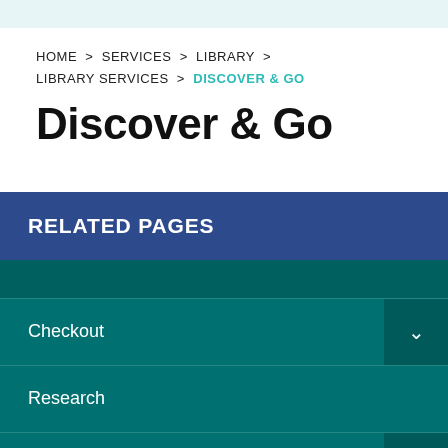HOME > SERVICES > LIBRARY > LIBRARY SERVICES > DISCOVER & GO
Discover & Go
RELATED PAGES
Checkout
Research
Computers & Internet